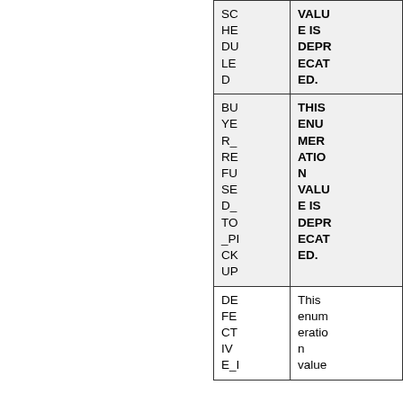| Name | Description |
| --- | --- |
| SCHEDULED | THIS ENUMERATION VALUE IS DEPRECATED. |
| BUYER_REFUSED_TO_PICKUP | THIS ENUMERATION VALUE IS DEPRECATED. |
| DEFECTIVE_I | This enumeration value |